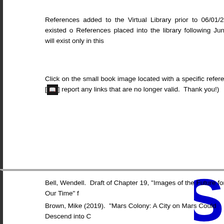References added to the Virtual Library prior to 06/01/2008 existed o References placed into the library following June 1 will exist only in this
Click on the small book image located with a specific reference [ð] report any links that are no longer valid.  Thank you!)
[Figure (other): Partial large blue letter S visible at right edge of lower white panel]
Bell, Wendell.  Draft of Chapter 19, "Images of the Future for Our Time" f
Brown, Mike (2019).  "Mars Colony: A City on Mars Could Descend into C